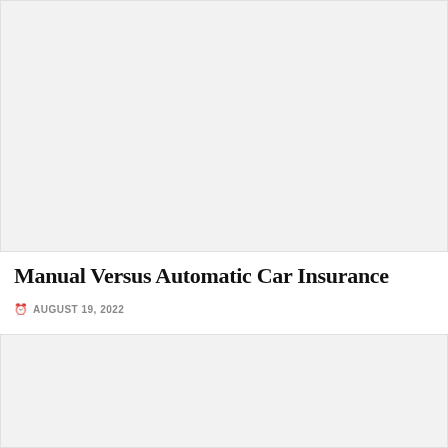[Figure (photo): Large image placeholder at top of article, light gray background]
Manual Versus Automatic Car Insurance
AUGUST 19, 2022
[Figure (photo): Second image placeholder below article metadata, light gray background, partially visible]